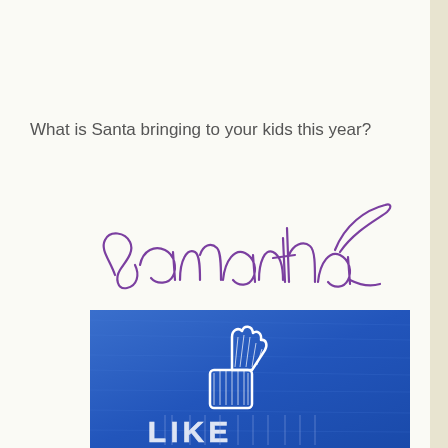What is Santa bringing to your kids this year?
[Figure (illustration): Cursive signature reading 'Samantha' in purple/violet script font]
[Figure (illustration): Blue chalkboard-style image with a hand-drawn thumbs up 'Like' icon and the word LIKE in chalk-style text]